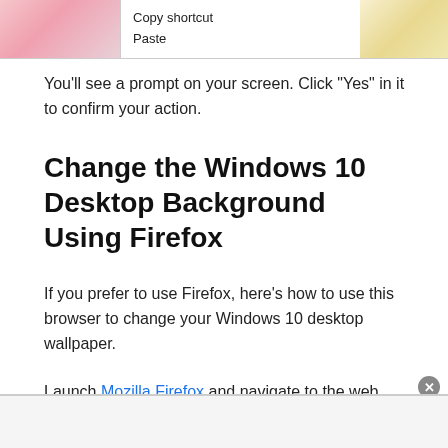[Figure (screenshot): Screenshot showing a context menu over an image of a tulip, with items 'Copy shortcut' and 'Paste' visible. The image shows pink tulips on the left and a light background on the right.]
You'll see a prompt on your screen. Click “Yes” in it to confirm your action.
Change the Windows 10 Desktop Background Using Firefox
If you prefer to use Firefox, here’s how to use this browser to change your Windows 10 desktop wallpaper.
Launch Mozilla Firefox and navigate to the web page